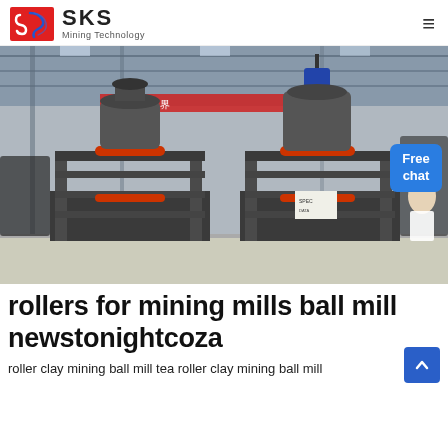SKS Mining Technology
[Figure (photo): Industrial mining mill machines (vertical roller mills) on a factory floor inside a large warehouse with steel frame roof structure. Two large grey vertical roller mills with red accent rings are prominently shown. A 'Free chat' button overlay is shown on the right side.]
rollers for mining mills ball mill newstonightcoza
roller clay mining ball mill tea roller clay mining ball mill